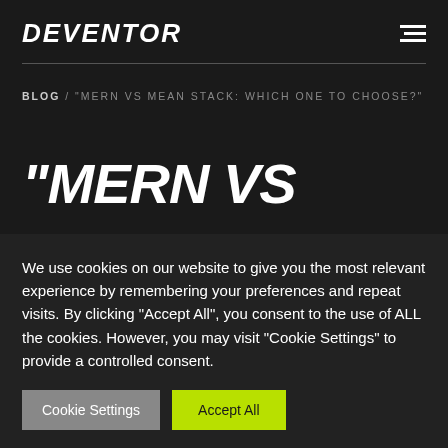DEVENTOR
BLOG / "MERN VS MEAN STACK: WHICH ONE TO CHOOSE?"
"MERN VS
We use cookies on our website to give you the most relevant experience by remembering your preferences and repeat visits. By clicking "Accept All", you consent to the use of ALL the cookies. However, you may visit "Cookie Settings" to provide a controlled consent.
Cookie Settings | Accept All